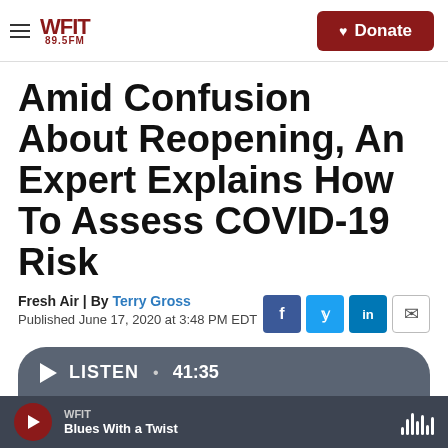WFIT 89.5FM | Donate
Amid Confusion About Reopening, An Expert Explains How To Assess COVID-19 Risk
Fresh Air | By Terry Gross
Published June 17, 2020 at 3:48 PM EDT
[Figure (screenshot): Social sharing buttons: Facebook, Twitter, LinkedIn, Email]
[Figure (screenshot): Audio player bar showing LISTEN • 41:35]
WFIT | Blues With a Twist